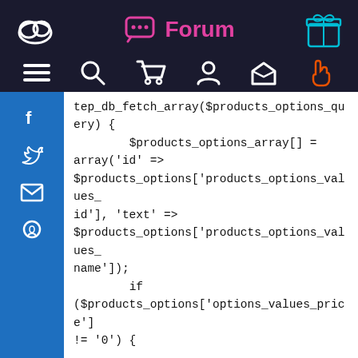Forum
[Figure (screenshot): Navigation icon bar with hamburger menu, search, cart, user, home, and hand/pointer icons on dark background]
[Figure (screenshot): Blue social media sidebar with Facebook, Twitter, email, and GitHub icons]
tep_db_fetch_array($products_options_query) {
        $products_options_array[] = array('id' => $products_options['products_options_values_id'], 'text' => $products_options['products_options_values_name']);
        if ($products_options['options_values_price'] != '0') {

$products_options_array[sizeof($products_options_array)-1]['text'] .= ' (' . $products_options['price_prefix'] . $currencies-